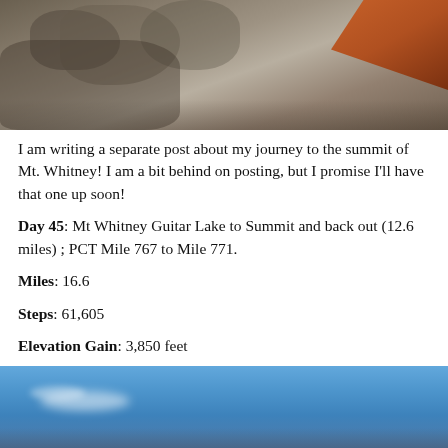[Figure (photo): Rocky mountain terrain with boulders and a tent corner visible in the upper right]
I am writing a separate post about my journey to the summit of Mt. Whitney! I am a bit behind on posting, but I promise I'll have that one up soon!
Day 45: Mt Whitney Guitar Lake to Summit and back out (12.6 miles) ; PCT Mile 767 to Mile 771.
Miles: 16.6
Steps: 61,605
Elevation Gain: 3,850 feet
[Figure (photo): Blue sky with faint clouds at the bottom of the frame]